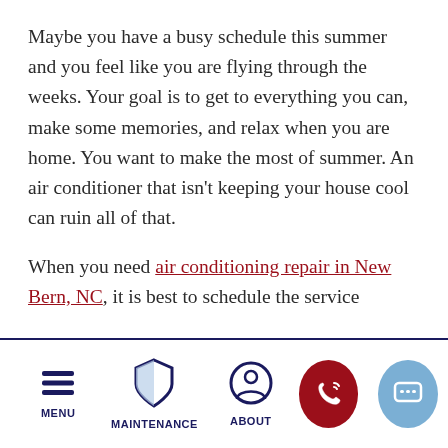Maybe you have a busy schedule this summer and you feel like you are flying through the weeks. Your goal is to get to everything you can, make some memories, and relax when you are home. You want to make the most of summer. An air conditioner that isn't keeping your house cool can ruin all of that.
When you need air conditioning repair in New Bern, NC, it is best to schedule the service